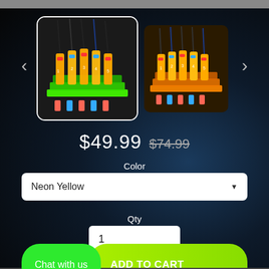[Figure (photo): Product image 1 (selected): fishing rod holder stand in neon green/yellow acrylic, holding multiple rods with colorful floats, on dark background]
[Figure (photo): Product image 2: fishing rod holder stand in orange acrylic, holding multiple rods, on dark background]
$49.99 $74.99
Color
Neon Yellow
Qty
1
Chat with us
ADD TO CART